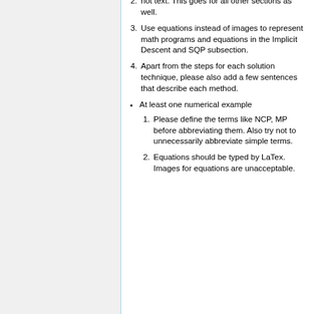not text. This goes for all other sections as well.
Use equations instead of images to represent math programs and equations in the Implicit Descent and SQP subsection.
Apart from the steps for each solution technique, please also add a few sentences that describe each method.
At least one numerical example
Please define the terms like NCP, MP before abbreviating them. Also try not to unnecessarily abbreviate simple terms.
Equations should be typed by LaTex. Images for equations are unacceptable.